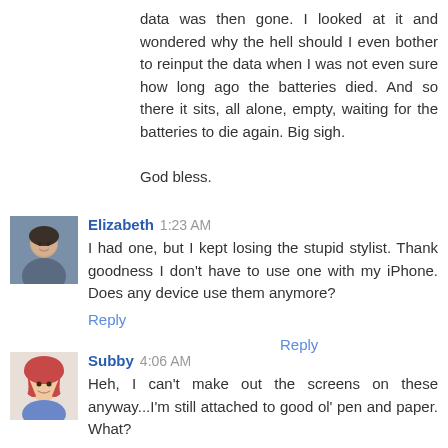data was then gone. I looked at it and wondered why the hell should I even bother to reinput the data when I was not even sure how long ago the batteries died. And so there it sits, all alone, empty, waiting for the batteries to die again. Big sigh.

God bless.
Reply
[Figure (photo): Avatar photo of Elizabeth, a person's face]
Elizabeth 1:23 AM
I had one, but I kept losing the stupid stylist. Thank goodness I don't have to use one with my iPhone. Does any device use them anymore?
Reply
[Figure (illustration): Avatar illustration of Subby, cartoon character with red hair]
Subby 4:06 AM
Heh, I can't make out the screens on these anyway...I'm still attached to good ol' pen and paper. What?